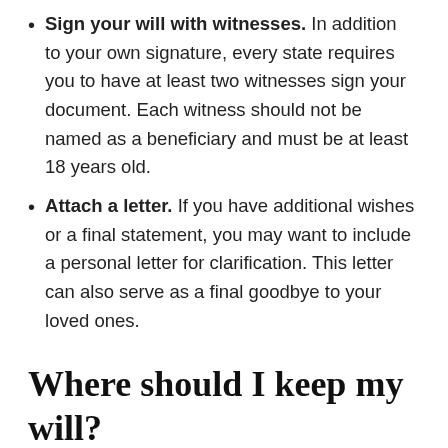Sign your will with witnesses. In addition to your own signature, every state requires you to have at least two witnesses sign your document. Each witness should not be named as a beneficiary and must be at least 18 years old.
Attach a letter. If you have additional wishes or a final statement, you may want to include a personal letter for clarification. This letter can also serve as a final goodbye to your loved ones.
Where should I keep my will?
After your will has been finalized, be sure to store it in a secure place like a safe or locking file cabinet. And don't